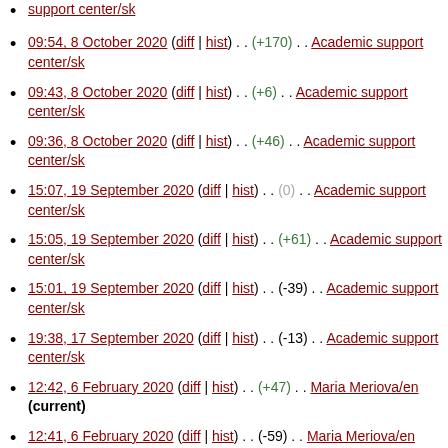support center/sk (top, clipped)
09:54, 8 October 2020 (diff | hist) . . (+170) . . Academic support center/sk
09:43, 8 October 2020 (diff | hist) . . (+6) . . Academic support center/sk
09:36, 8 October 2020 (diff | hist) . . (+46) . . Academic support center/sk
15:07, 19 September 2020 (diff | hist) . . (0) . . Academic support center/sk
15:05, 19 September 2020 (diff | hist) . . (+61) . . Academic support center/sk
15:01, 19 September 2020 (diff | hist) . . (-39) . . Academic support center/sk
19:38, 17 September 2020 (diff | hist) . . (-13) . . Academic support center/sk
12:42, 6 February 2020 (diff | hist) . . (+47) . . Maria Meriova/en (current)
12:41, 6 February 2020 (diff | hist) . . (-59) . . Maria Meriova/en
12:40, 6 February 2020 (diff | hist) . . (+43) . . N Úvod do (clipped)